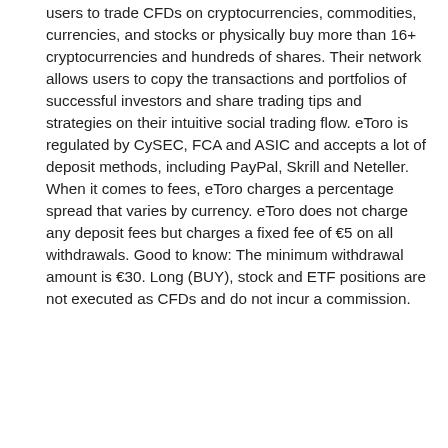users to trade CFDs on cryptocurrencies, commodities, currencies, and stocks or physically buy more than 16+ cryptocurrencies and hundreds of shares. Their network allows users to copy the transactions and portfolios of successful investors and share trading tips and strategies on their intuitive social trading flow. eToro is regulated by CySEC, FCA and ASIC and accepts a lot of deposit methods, including PayPal, Skrill and Neteller. When it comes to fees, eToro charges a percentage spread that varies by currency. eToro does not charge any deposit fees but charges a fixed fee of €5 on all withdrawals. Good to know: The minimum withdrawal amount is €30. Long (BUY), stock and ETF positions are not executed as CFDs and do not incur a commission.